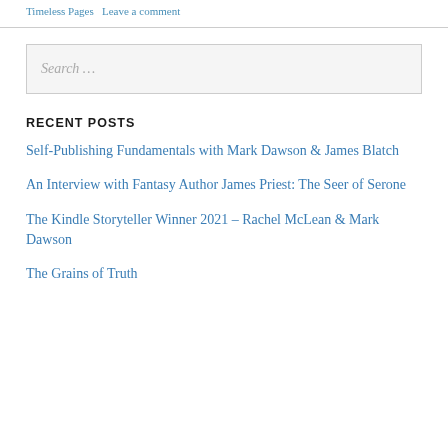Timeless Pages   Leave a comment
Search …
RECENT POSTS
Self-Publishing Fundamentals with Mark Dawson & James Blatch
An Interview with Fantasy Author James Priest: The Seer of Serone
The Kindle Storyteller Winner 2021 – Rachel McLean & Mark Dawson
The Grains of Truth